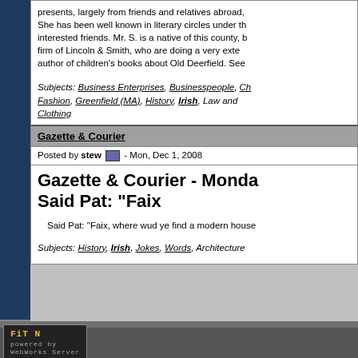presents, largely from friends and relatives abroad, She has been well known in literary circles under th interested friends. Mr. S. is a native of this county, b firm of Lincoln & Smith, who are doing a very exte author of children's books about Old Deerfield. See
Subjects: Business Enterprises, Businesspeople, Ch Fashion, Greenfield (MA), History, Irish, Law and Clothing
Gazette & Courier
Posted by stew - Mon, Dec 1, 2008
Gazette & Courier - Monday Said Pat: "Faix
Said Pat: "Faix, where wud ye find a modern house
Subjects: History, Irish, Jokes, Words, Architecture